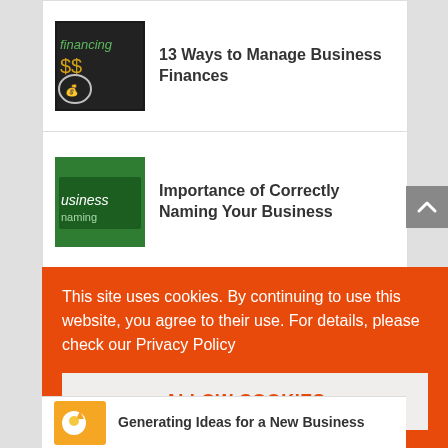13 Ways to Manage Business Finances
Importance of Correctly Naming Your Business
20 Things You Need to Consider When Taking a Business Partner
This site uses cookies. By continuing to use this website, you agree to their use. For details, please check our Privacy Policy
ALLOW COOKIES
Generating Ideas for a New Business